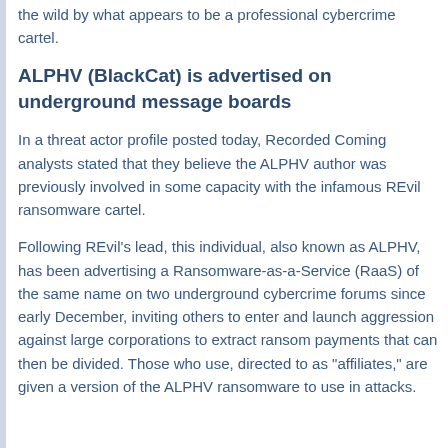the wild by what appears to be a professional cybercrime cartel.
ALPHV (BlackCat) is advertised on underground message boards
In a threat actor profile posted today, Recorded Coming analysts stated that they believe the ALPHV author was previously involved in some capacity with the infamous REvil ransomware cartel.
Following REvil's lead, this individual, also known as ALPHV, has been advertising a Ransomware-as-a-Service (RaaS) of the same name on two underground cybercrime forums since early December, inviting others to enter and launch aggression against large corporations to extract ransom payments that can then be divided. Those who use, directed to as "affiliates," are given a version of the ALPHV ransomware to use in attacks.